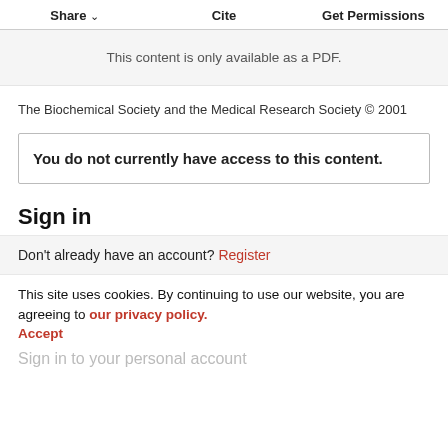Share  Cite  Get Permissions
This content is only available as a PDF.
The Biochemical Society and the Medical Research Society © 2001
You do not currently have access to this content.
Sign in
Don't already have an account? Register
This site uses cookies. By continuing to use our website, you are agreeing to our privacy policy. Accept
Sign in to your personal account